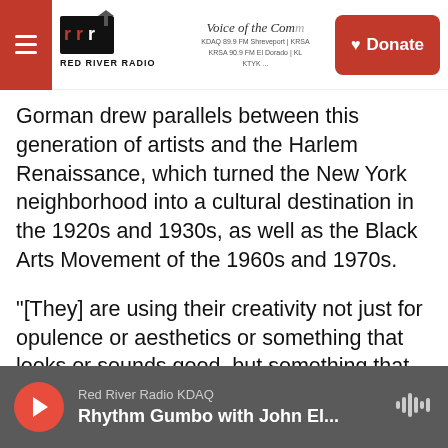Red River Radio — Voice of the Community | KDAQ 89.9 FM Shreveport | KRSA 90.9 FM El Dorado | Donate
Gorman drew parallels between this generation of artists and the Harlem Renaissance, which turned the New York neighborhood into a cultural destination in the 1920s and 1930s, as well as the Black Arts Movement of the 1960s and 1970s.
"[They] are using their creativity not just for opulence or aesthetics or something that looks or sounds good, but something that speaks to real movement and momentum and social change," Gorman said
As a poet, she sees her role in that effort as
Red River Radio KDAQ — Rhythm Gumbo with John El...